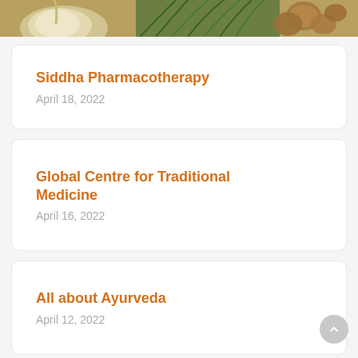[Figure (photo): Top partial image of herbs and spices including garlic, rosemary, and nuts on a wooden surface]
Siddha Pharmacotherapy
April 18, 2022
Global Centre for Traditional Medicine
April 16, 2022
All about Ayurveda
April 12, 2022